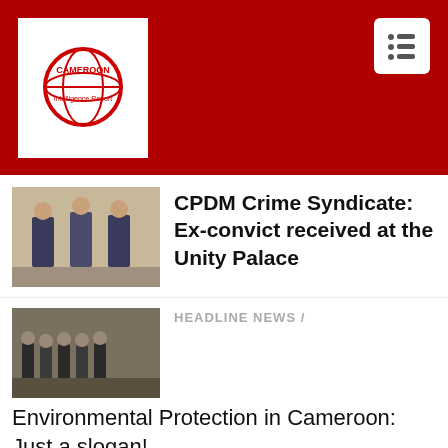[Figure (logo): Cameroon Intelligence Report logo - red globe with text on white background]
[Figure (photo): Three men in suits standing together indoors]
CPDM Crime Syndicate: Ex-convict received at the Unity Palace
[Figure (photo): Group of people outdoors, possibly cattle or animals in background]
HEADLINE NEWS /
Environmental Protection in Cameroon: Just a slogan!
< SONARA Explosion: What really happened?
UN told to highlight Cameroon at Central Africa Briefing...